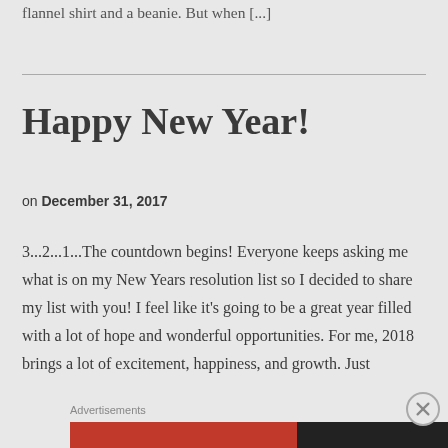flannel shirt and a beanie. But when [...]
Happy New Year!
on December 31, 2017
3...2...1...The countdown begins! Everyone keeps asking me what is on my New Years resolution list so I decided to share my list with you! I feel like it's going to be a great year filled with a lot of hope and wonderful opportunities. For me, 2018 brings a lot of excitement, happiness, and growth. Just
Advertisements